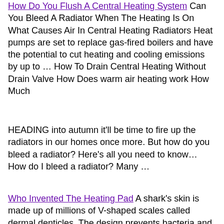How Do You Flush A Central Heating System Can You Bleed A Radiator When The Heating Is On What Causes Air In Central Heating Radiators Heat pumps are set to replace gas-fired boilers and have the potential to cut heating and cooling emissions by up to … How To Drain Central Heating Without Drain Valve How Does warm air heating work How Much
HEADING into autumn it'll be time to fire up the radiators in our homes once more. But how do you bleed a radiator? Here's all you need to know… How do I bleed a radiator? Many …
Who Invented The Heating Pad A shark's skin is made up of millions of V-shaped scales called dermal denticles. The design prevents bacteria and